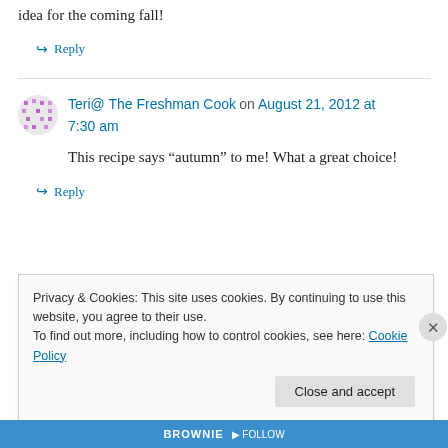idea for the coming fall!
↪ Reply
Teri@ The Freshman Cook on August 21, 2012 at 7:30 am
This recipe says “autumn” to me! What a great choice!
↪ Reply
Privacy & Cookies: This site uses cookies. By continuing to use this website, you agree to their use.
To find out more, including how to control cookies, see here: Cookie Policy
Close and accept